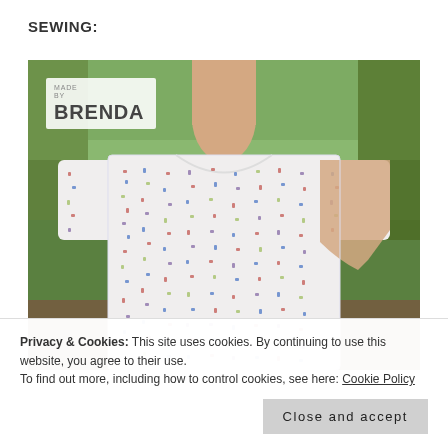SEWING:
[Figure (photo): Woman wearing a white patterned short-sleeve t-shirt, standing outdoors on grass. A 'Made by Brenda' logo watermark appears in the upper left corner of the photo.]
Privacy & Cookies: This site uses cookies. By continuing to use this website, you agree to their use.
To find out more, including how to control cookies, see here: Cookie Policy
Close and accept